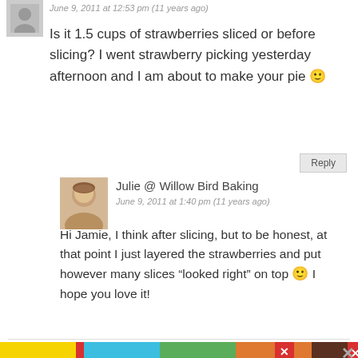June 9, 2011 at 12:53 pm (11 years ago)
Is it 1.5 cups of strawberries sliced or before slicing? I went strawberry picking yesterday afternoon and I am about to make your pie 🙂
Reply
Julie @ Willow Bird Baking
June 9, 2011 at 1:40 pm (11 years ago)
Hi Jamie, I think after slicing, but to be honest, at that point I just layered the strawberries and put however many slices “looked right” on top 🙂 I hope you love it!
Reply
[Figure (infographic): Advertisement banner: Wash Your Hands Often - colorful sections with hand washing emoji icons in yellow, cyan, green, orange, dark brown, and red segments]